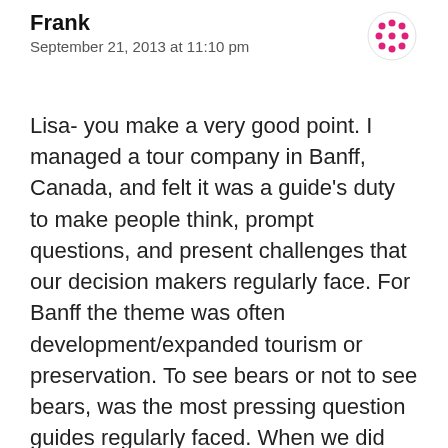Frank
September 21, 2013 at 11:10 pm
Lisa- you make a very good point. I managed a tour company in Banff, Canada, and felt it was a guide’s duty to make people think, prompt questions, and present challenges that our decision makers regularly face. For Banff the theme was often development/expanded tourism or preservation. To see bears or not to see bears, was the most pressing question guides regularly faced. When we did see one, the traffic jam with people jumping out of their cars to get a better view simply made it easy to explain how stressed bears were. Our guests stayed in the vehicle, often quietly, and commonly were the ones who urged the guide to continue on the way sooner